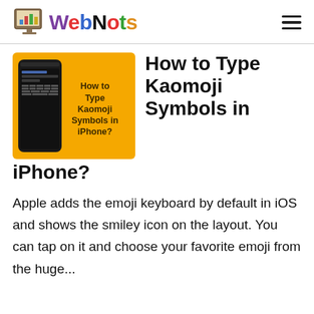WebNots
[Figure (screenshot): Featured image showing an iPhone with keyboard and kaomoji symbols on a yellow background, with text 'How to Type Kaomoji Symbols in iPhone?']
How to Type Kaomoji Symbols in iPhone?
Apple adds the emoji keyboard by default in iOS and shows the smiley icon on the layout. You can tap on it and choose your favorite emoji from the huge...